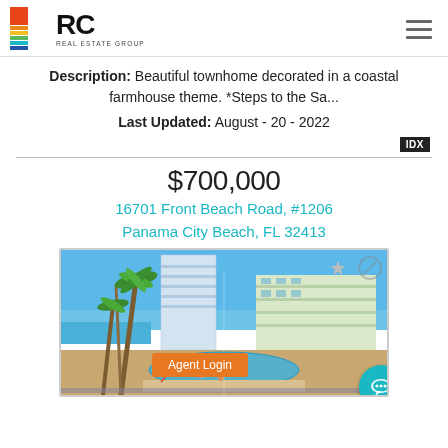RC Real Estate Group logo and navigation
Description: Beautiful townhome decorated in a coastal farmhouse theme. *Steps to the Sa...
Last Updated: August - 20 - 2022
$700,000
16701 Front Beach Road, #1206 Panama City Beach, FL 32413
[Figure (photo): Exterior photo of a beachfront condo high-rise with palm trees and a pool in the foreground, in Panama City Beach, FL. An 'Agent Login' button overlay and star/noop icons are visible.]